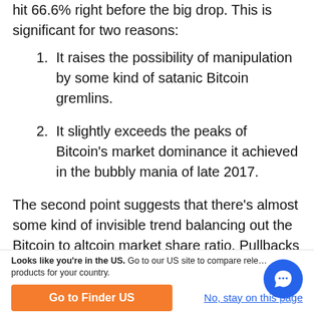hit 66.6% right before the big drop. This is significant for two reasons:
1. It raises the possibility of manipulation by some kind of satanic Bitcoin gremlins.
2. It slightly exceeds the peaks of Bitcoin's market dominance it achieved in the bubbly mania of late 2017.
The second point suggests that there’s almost some kind of invisible trend balancing out the Bitcoin to altcoin market share ratio. Pullbacks earlier in this
Looks like you’re in the US. Go to our US site to compare rele… products for your country.
Go to Finder US
No, stay on this page